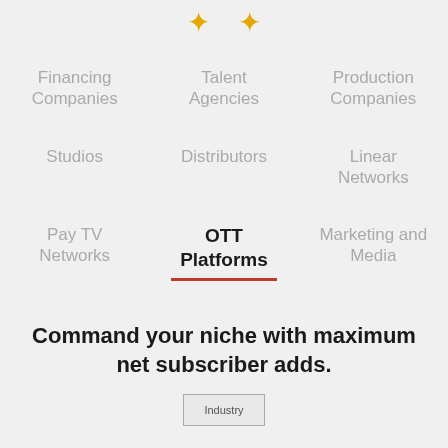[Figure (illustration): Two gold/yellow star or sparkle icons at the top center of the page]
Financing Companies
Talent Agencies
Production Companies
Studios
Distributors
Linear Networks
Pay TV Networks
OTT Platforms
Marketing and Media
Command your niche with maximum net subscriber adds.
[Figure (illustration): Industry logo or image placeholder at the bottom center]